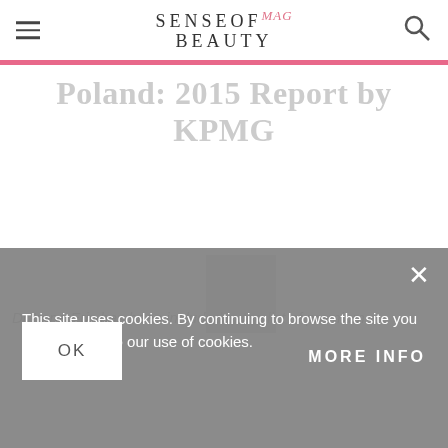SENSE OF BEAUTY MAG
Poland: 2015 Report by KPMG
Dr Irena Eris has been included in the list of premium
This site uses cookies. By continuing to browse the site you are agreeing to our use of cookies.
OK
MORE INFO